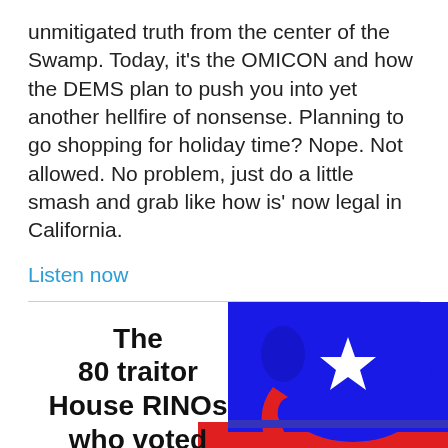unmitigated truth from the center of the Swamp. Today, it's the OMICON and how the DEMS plan to push you into yet another hellfire of nonsense. Planning to go shopping for holiday time? Nope. Not allowed. No problem, just do a little smash and grab like how is' now legal in California.
Listen now
[Figure (infographic): Graphic showing text 'The 80 traitor House RINOs who voted for the' alongside a stylized GOP elephant logo in blue, white, and red on a white and red background.]
in | f | [twitter bird] | [share icon]